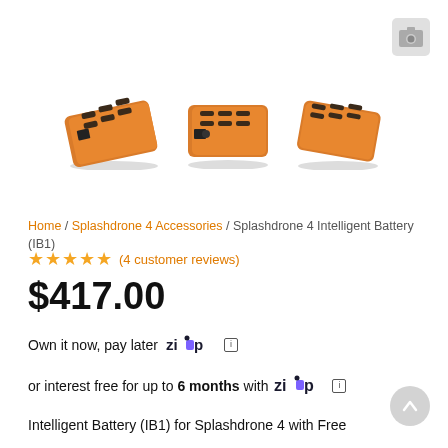[Figure (photo): Camera icon placeholder in top right corner, light gray rounded square]
[Figure (photo): Three orange drone batteries (Splashdrone 4 Intelligent Battery IB1) shown from different angles side by side]
Home / Splashdrone 4 Accessories / Splashdrone 4 Intelligent Battery (IB1)
★★★★★ (4 customer reviews)
$417.00
Own it now, pay later [Zip logo] ⓘ
or interest free for up to 6 months with [Zip logo] ⓘ
Intelligent Battery (IB1) for Splashdrone 4 with Free